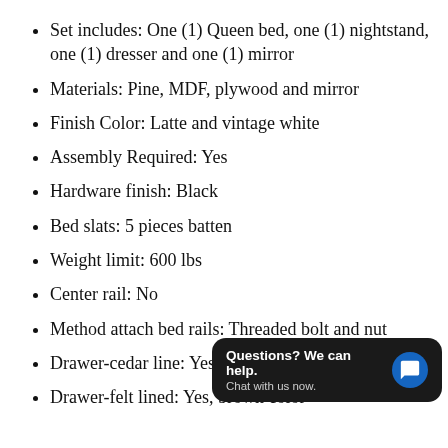Set includes: One (1) Queen bed, one (1) nightstand, one (1) dresser and one (1) mirror
Materials: Pine, MDF, plywood and mirror
Finish Color: Latte and vintage white
Assembly Required: Yes
Hardware finish: Black
Bed slats: 5 pieces batten
Weight limit: 600 lbs
Center rail: No
Method attach bed rails: Threaded bolt and nut
Drawer-cedar line: Yes
Drawer-felt lined: Yes, brown color